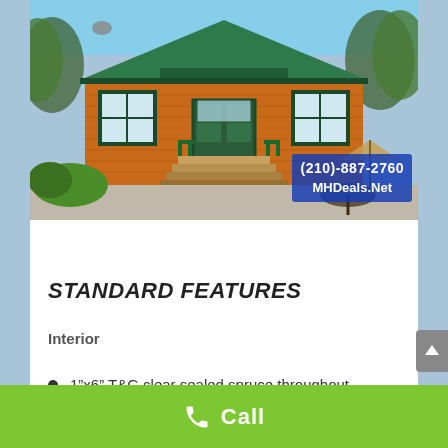[Figure (photo): Exterior photo of a log/wood cabin with green metal roof, green trim, front porch with steps and green railing, patio area with umbrella and chairs, surrounded by trees and shrubs. Watermark overlay shows phone number and website.]
STANDARD FEATURES
Interior
1"x6" T&G clear sealed spruce throughout
Call